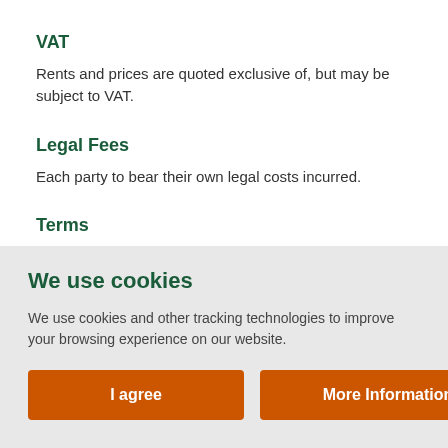VAT
Rents and prices are quoted exclusive of, but may be subject to VAT.
Legal Fees
Each party to bear their own legal costs incurred.
Terms
The property is available to let by way of a new full
We use cookies
We use cookies and other tracking technologies to improve your browsing experience on our website.
I agree   More Information